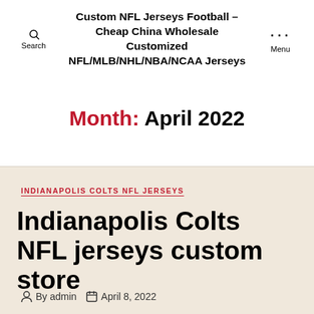Custom NFL Jerseys Football - Cheap China Wholesale Customized NFL/MLB/NHL/NBA/NCAA Jerseys
Month: April 2022
INDIANAPOLIS COLTS NFL JERSEYS
Indianapolis Colts NFL jerseys custom store
By admin  April 8, 2022